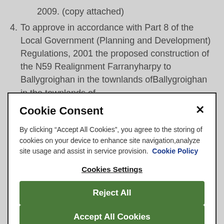2009. (copy attached)
4. To approve in accordance with Part 8 of the Local Government (Planning and Development) Regulations, 2001 the proposed construction of the N59 Realignment Farranyharpy to Ballygroighan in the townlands of
Cookie Consent
By clicking “Accept All Cookies”, you agree to the storing of cookies on your device to enhance site navigation,analyze site usage and assist in service provision.  Cookie Policy
Cookies Settings
Reject All
Accept All Cookies